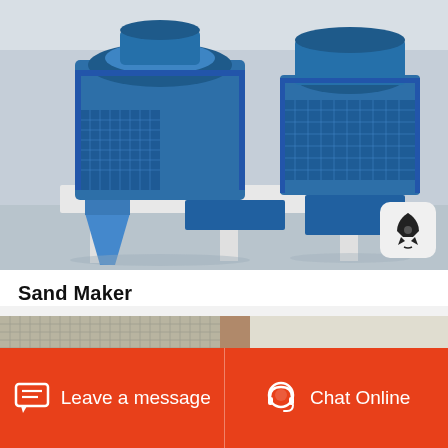[Figure (photo): Large blue industrial sand maker machine with cylindrical top unit, metal frame platform on white legs, and mesh guard panels, photographed inside a factory/warehouse with light gray floor.]
Sand Maker
[Figure (photo): Partial view of industrial equipment showing a metal mesh/screen panel and structural beam, partially visible at bottom of page.]
Leave a message
Chat Online